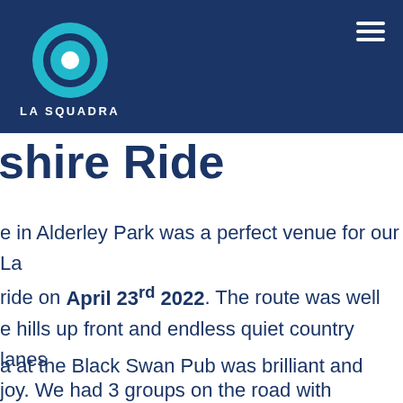[Figure (logo): La Squadra logo: circular target-like icon in cyan/teal with white center dot, white text 'LA SQUADRA' below, on dark navy blue background header]
shire Ride
e in Alderley Park was a perfect venue for our La ride on April 23rd 2022. The route was well e hills up front and endless quiet country lanes joy. We had 3 groups on the road with Pinarello s Downing and Grace Garner moving through the ur owners to ride with them.
a at the Black Swan Pub was brilliant and